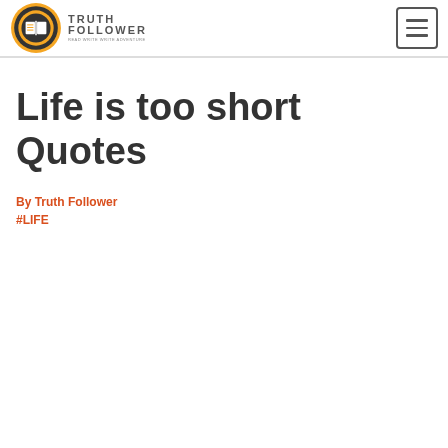Truth Follower logo and navigation
Life is too short Quotes
By Truth Follower
#LIFE